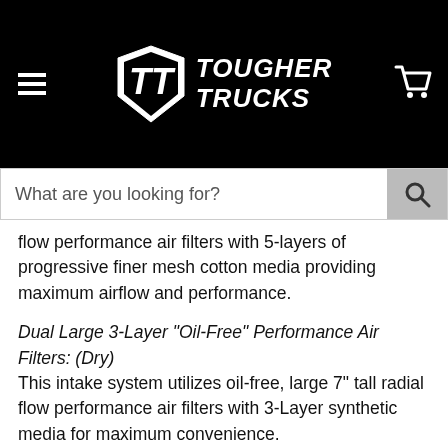[Figure (logo): Tougher Trucks logo with hamburger menu and cart icon on black header background]
[Figure (screenshot): Search bar with placeholder text 'What are you looking for?' and a search button]
flow performance air filters with 5-layers of progressive finer mesh cotton media providing maximum airflow and performance.
Dual Large 3-Layer "Oil-Free" Performance Air Filters: (Dry) This intake system utilizes oil-free, large 7" tall radial flow performance air filters with 3-Layer synthetic media for maximum convenience.
Top Mounted Heat Shield Design: aFe developed this wrinkle-black powder-coated aluminum heat shield to snap onto the top of the lower half of the factory air box to provide a hassle-free installation utilizing